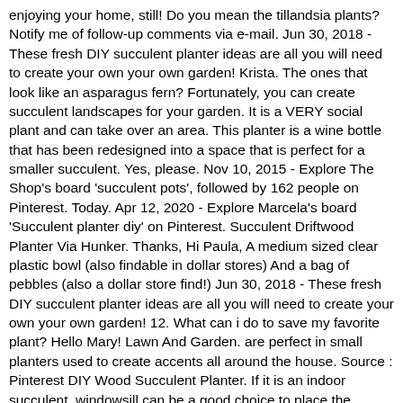enjoying your home, still! Do you mean the tillandsia plants? Notify me of follow-up comments via e-mail. Jun 30, 2018 - These fresh DIY succulent planter ideas are all you will need to create your own your own garden! Krista. The ones that look like an asparagus fern? Fortunately, you can create succulent landscapes for your garden. It is a VERY social plant and can take over an area. This planter is a wine bottle that has been redesigned into a space that is perfect for a smaller succulent. Yes, please. Nov 10, 2015 - Explore The Shop's board 'succulent pots', followed by 162 people on Pinterest. Today. Apr 12, 2020 - Explore Marcela's board 'Succulent planter diy' on Pinterest. Succulent Driftwood Planter Via Hunker. Thanks, Hi Paula, A medium sized clear plastic bowl (also findable in dollar stores) And a bag of pebbles (also a dollar store find!) Jun 30, 2018 - These fresh DIY succulent planter ideas are all you will need to create your own your own garden! 12. What can i do to save my favorite plant? Hello Mary! Lawn And Garden. are perfect in small planters used to create accents all around the house. Source : Pinterest DIY Wood Succulent Planter. If it is an indoor succulent, windowsill can be a good choice to place the succulent plant. May 5, 2020 - Explore Josecarlosfloresvaz's board 'Succulent wall planter' on Pinterest. 14. Jun 13, 2016 - Succulent arrangements. Vertical Succulent Wall Planter Via Balcony Garden Web. Tree Trunk Planter. See more ideas about Succulent pots, Succulents, Planters. how to put your succulent planter together What are you waiting for then ?! ... Plants Succulents Diy Succulents Succulent Planter Diy Garden Planters Sedum Cactus Garden Outdoor Gardens Container Gardening. See more ideas about succulent planter, succulents